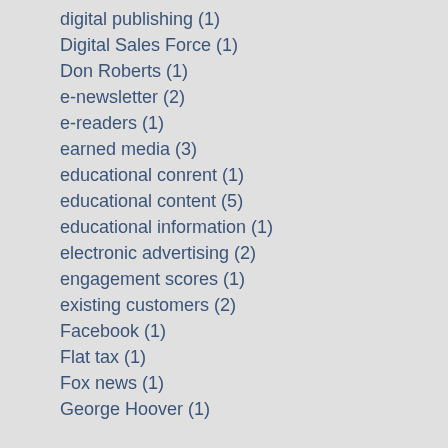digital publishing (1)
Digital Sales Force (1)
Don Roberts (1)
e-newsletter (2)
e-readers (1)
earned media (3)
educational conrent (1)
educational content (5)
educational information (1)
electronic advertising (2)
engagement scores (1)
existing customers (2)
Facebook (1)
Flat tax (1)
Fox news (1)
George Hoover (1)